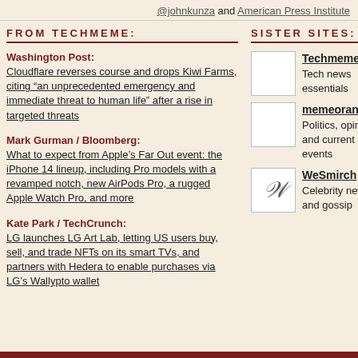@johnkunza and American Press Institute
FROM TECHMEME:
SISTER SITES:
Washington Post: Cloudflare reverses course and drops Kiwi Farms, citing “an unprecedented emergency and immediate threat to human life” after a rise in targeted threats
Mark Gurman / Bloomberg: What to expect from Apple’s Far Out event: the iPhone 14 lineup, including Pro models with a revamped notch, new AirPods Pro, a rugged Apple Watch Pro, and more
Kate Park / TechCrunch: LG launches LG Art Lab, letting US users buy, sell, and trade NFTs on its smart TVs, and partners with Hedera to enable purchases via LG’s Wallypto wallet
[Figure (other): Techmeme sister site icon - blank white square]
Techmeme - Tech news essentials
[Figure (other): memeorandum sister site icon - blank white square]
memeorandum - Politics, opinion, and current events
[Figure (other): WeSmirch sister site icon - cursive W logo]
WeSmirch - Celebrity news and gossip